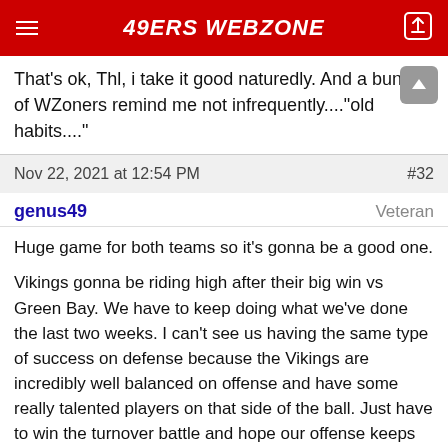49ERS WEBZONE
That's ok, Thl, i take it good naturedly. And a bunch of WZoners remind me not infrequently...."old habits...."
Nov 22, 2021 at 12:54 PM    #32
genus49    Veteran
Huge game for both teams so it's gonna be a good one.

Vikings gonna be riding high after their big win vs Green Bay. We have to keep doing what we've done the last two weeks. I can't see us having the same type of success on defense because the Vikings are incredibly well balanced on offense and have some really talented players on that side of the ball. Just have to win the turnover battle and hope our offense keeps playing mistake free football and grind their defense into the ground.

Note to Kyle...this is a game where if we're 4th and short within their 5 yard line, go for it. Gonna need TDs.